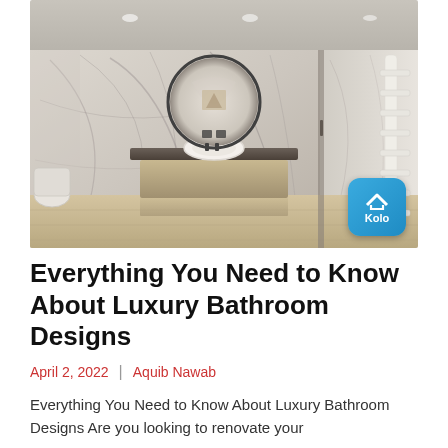[Figure (photo): Luxury marble bathroom with circular mirror, vessel sink on floating vanity, white marble walls with grey veining, wooden floor, and a Kolo brand logo badge in the bottom right corner.]
Everything You Need to Know About Luxury Bathroom Designs
April 2, 2022  |  Aquib Nawab
Everything You Need to Know About Luxury Bathroom Designs Are you looking to renovate your